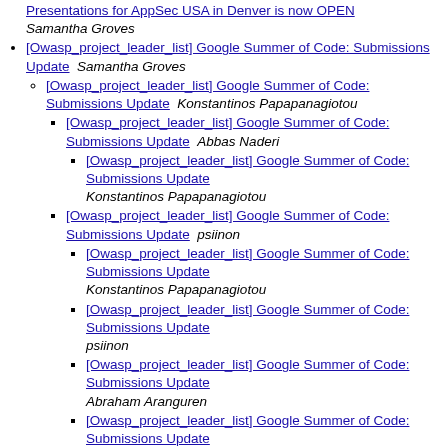[link] Presentations for AppSec USA in Denver is now OPEN  Samantha Groves
[Owasp_project_leader_list] Google Summer of Code: Submissions Update  Samantha Groves
[Owasp_project_leader_list] Google Summer of Code: Submissions Update  Konstantinos Papapanagiotou
[Owasp_project_leader_list] Google Summer of Code: Submissions Update  Abbas Naderi
[Owasp_project_leader_list] Google Summer of Code: Submissions Update  Konstantinos Papapanagiotou
[Owasp_project_leader_list] Google Summer of Code: Submissions Update  psiinon
[Owasp_project_leader_list] Google Summer of Code: Submissions Update  Konstantinos Papapanagiotou
[Owasp_project_leader_list] Google Summer of Code: Submissions Update  psiinon
[Owasp_project_leader_list] Google Summer of Code: Submissions Update  Abraham Aranguren
[Owasp_project_leader_list] Google Summer of Code: Submissions Update  psiinon
[Owasp_project_leader_list] Google Summer of Code: Submissions Update  (truncated)